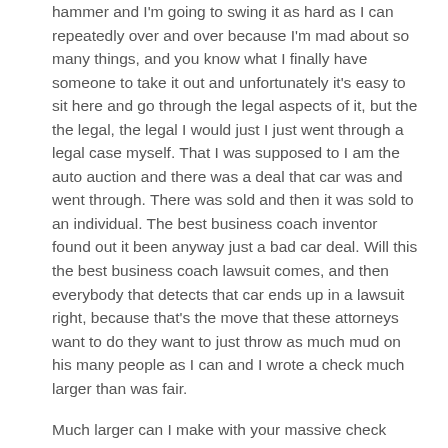hammer and I'm going to swing it as hard as I can repeatedly over and over because I'm mad about so many things, and you know what I finally have someone to take it out and unfortunately it's easy to sit here and go through the legal aspects of it, but the the legal, the legal I would just I just went through a legal case myself. That I was supposed to I am the auto auction and there was a deal that car was and went through. There was sold and then it was sold to an individual. The best business coach inventor found out it been anyway just a bad car deal. Will this the best business coach lawsuit comes, and then everybody that detects that car ends up in a lawsuit right, because that's the move that these attorneys want to do they want to just throw as much mud on his many people as I can and I wrote a check much larger than was fair.
Much larger can I make with your massive check writing music. Please we're going to settle with a dead baby, we're going to slam and whatever, whatever it was going to get my money out. So I have my time. Freedom back. It was crazy, but I did I hunger